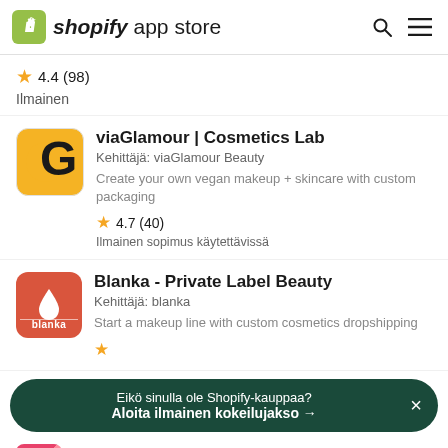shopify app store
4.4 (98)
Ilmainen
viaGlamour | Cosmetics Lab
Kehittäjä: viaGlamour Beauty
Create your own vegan makeup + skincare with custom packaging
4.7 (40)
Ilmainen sopimus käytettävissä
Blanka - Private Label Beauty
Kehittäjä: blanka
Start a makeup line with custom cosmetics dropshipping
Eikö sinulla ole Shopify-kauppaa?
Aloita ilmainen kokeilujakso →
DropShipCN - Print on Demand